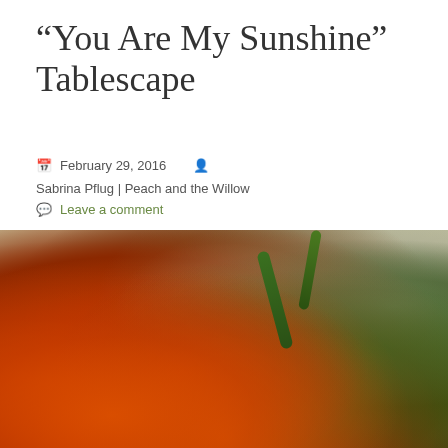“You Are My Sunshine” Tablescape
February 29, 2016  Sabrina Pflug | Peach and the Willow
Leave a comment
[Figure (photo): Close-up photograph of vibrant orange roses with green foliage and blurred bookshelf background]